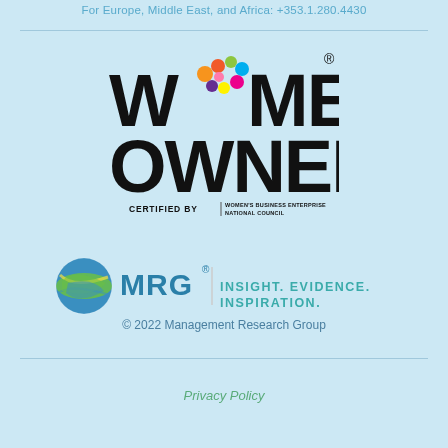For Europe, Middle East, and Africa: +353.1.280.4430
[Figure (logo): Women Owned logo — large bold block letters W and a colorful circular dot pattern for the letter O, then MEN on first line; OWNED on second line; below: CERTIFIED BY | WOMEN'S BUSINESS ENTERPRISE NATIONAL COUNCIL]
[Figure (logo): MRG logo — circular globe icon with green and blue swirls, followed by MRG in large blue bold text with trademark symbol, then tagline INSIGHT. EVIDENCE. INSPIRATION. in teal]
© 2022 Management Research Group
Privacy Policy